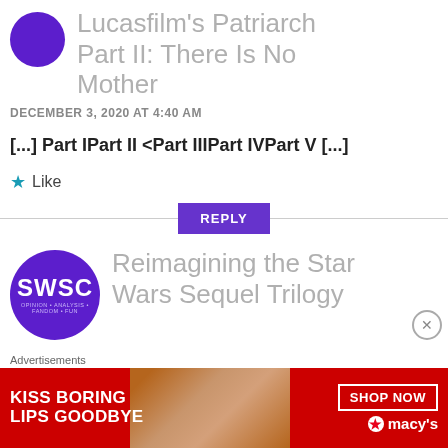Lucasfilm’s Patriarch Part II: There Is No Mother
DECEMBER 3, 2020 AT 4:40 AM
[...] Part IPart II <Part IIIPart IVPart V [...]
★ Like
REPLY
[Figure (logo): SWSC circular logo with purple background, white text SWSC and tagline OPINION • ANALYSIS • FANDOM • FUN]
Reimagining the Star Wars Sequel Trilogy
Advertisements
[Figure (photo): Macy’s advertisement banner with red background: KISS BORING LIPS GOODBYE with SHOP NOW button and Macy’s star logo, photo of woman with red lips]